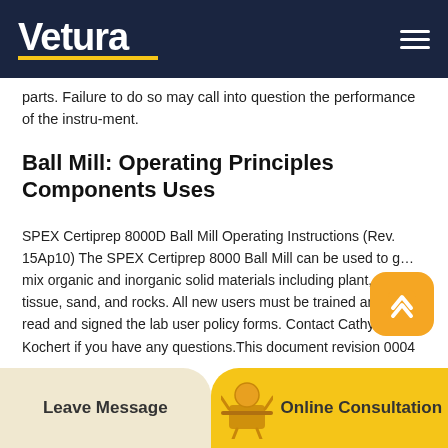Vetura
parts. Failure to do so may call into question the performance of the instru-ment.
Ball Mill: Operating Principles Components Uses
SPEX Certiprep 8000D Ball Mill Operating Instructions (Rev. 15Ap10) The SPEX Certiprep 8000 Ball Mill can be used to grind, mix organic and inorganic solid materials including plant, animal tissue, sand, and rocks. All new users must be trained and have read and signed the lab user policy forms. Contact Cathy Kochert if you have any questions.This document revision 0004 refers to the manual Cryogenic Mixer Mill CryoMill in compliance with the Directive of Machinery 2006 42 EG. This operating
Leave Message | Online Consultation